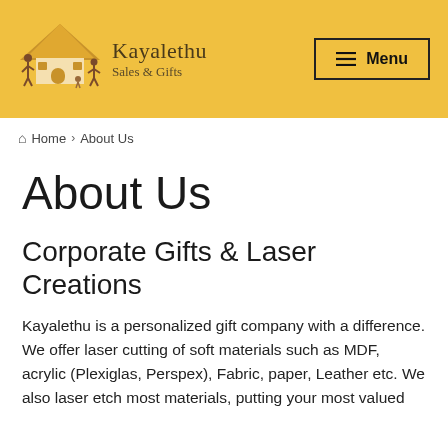Kayalethu Sales & Gifts — Menu
Home › About Us
About Us
Corporate Gifts & Laser Creations
Kayalethu is a personalized gift company with a difference. We offer laser cutting of soft materials such as MDF, acrylic (Plexiglas, Perspex), Fabric, paper, Leather etc. We also laser etch most materials, putting your most valued